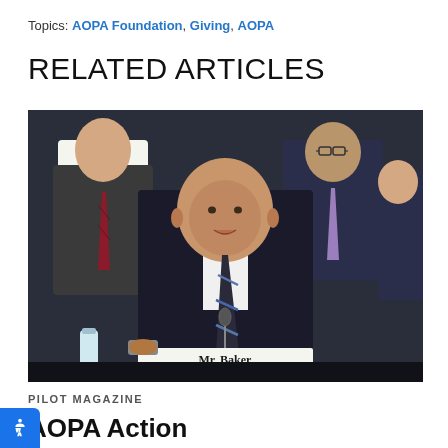Topics: AOPA Foundation, Giving, AOPA
RELATED ARTICLES
[Figure (photo): Man in dark suit with striped tie speaking at a congressional or formal hearing; nameplate reads 'Mr. Baker AOPA'; other suited individuals seated behind him.]
PILOT MAGAZINE
AOPA Action